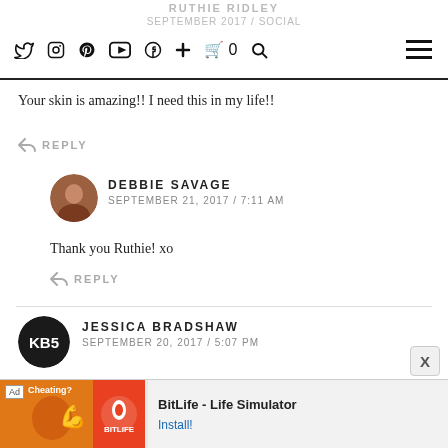RUTHIE RIDLEY / SEPTEMBER 2017 / Social
Your skin is amazing!! I need this in my life!!
↩ REPLY
DEBBIE SAVAGE
SEPTEMBER 21, 2017 / 7:11 AM
Thank you Ruthie! xo
↩ REPLY
JESSICA BRADSHAW
SEPTEMBER 20, 2017 / 5:07 PM
That's awesome! I can't believe you are 40! What a great transformation
[Figure (screenshot): Ad banner for BitLife - Life Simulator mobile game with orange/red graphic and install button]